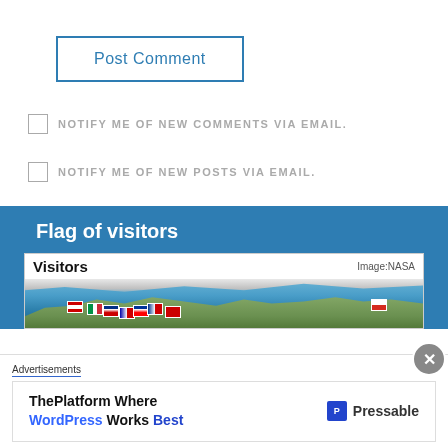[Figure (screenshot): Post Comment button with blue border]
NOTIFY ME OF NEW COMMENTS VIA EMAIL.
NOTIFY ME OF NEW POSTS VIA EMAIL.
Flag of visitors
[Figure (screenshot): Visitors widget with world map showing flag markers and Image:NASA credit]
Advertisements
[Figure (screenshot): Pressable advertisement: ThePlatform Where WordPress Works Best]